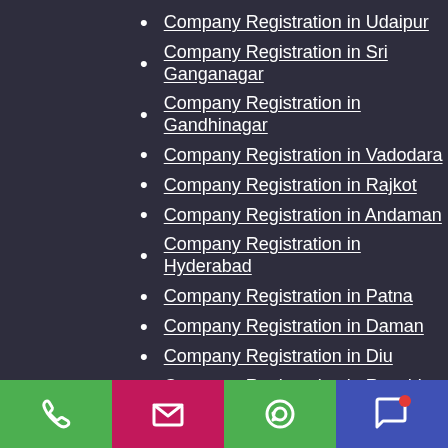Company Registration in Udaipur
Company Registration in Sri Ganganagar
Company Registration in Gandhinagar
Company Registration in Vadodara
Company Registration in Rajkot
Company Registration in Andaman
Company Registration in Hyderabad
Company Registration in Patna
Company Registration in Daman
Company Registration in Diu
Company Registration in Ranchi
Company Registration in Bangalore
Company Registration in Mysore
Company Registration in Indore